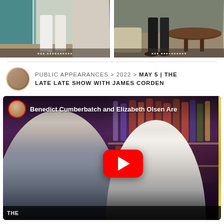[Figure (photo): Two side-by-side cropped photos showing people's lower bodies/legs, with decorative overlays at the bottom]
PUBLIC APPEARANCES > 2022 > MAY 5 | THE LATE LATE SHOW WITH JAMES CORDEN
[Figure (screenshot): YouTube video thumbnail/embed showing Benedict Cumberbatch and Elizabeth Olsen Are... on The Late Late Show with James Corden, with red YouTube play button overlay, purple bar background]